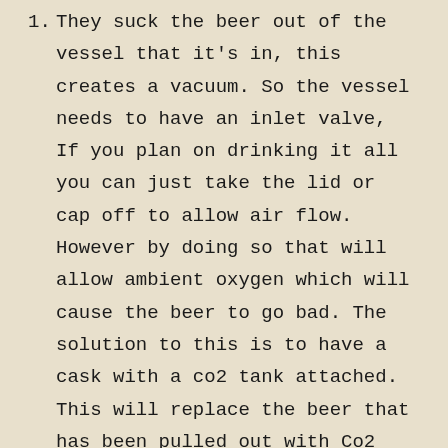1. They suck the beer out of the vessel that it's in, this creates a vacuum. So the vessel needs to have an inlet valve, If you plan on drinking it all you can just take the lid or cap off to allow air flow. However by doing so that will allow ambient oxygen which will cause the beer to go bad. The solution to this is to have a cask with a co2 tank attached. This will replace the beer that has been pulled out with Co2 keeping the beer fresher for longer.
2. In order to use the Beer Engine, you need a check valve that uses a 5/16 gas line to connect the keg to the regulator inlet